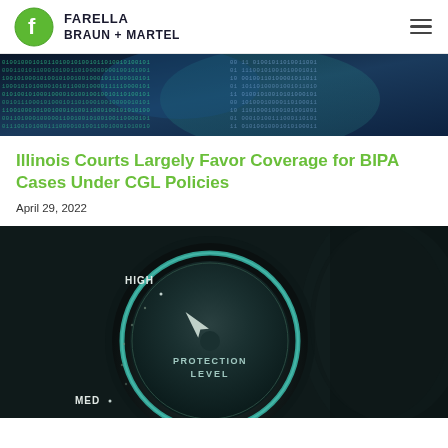Farella Braun + Martel
[Figure (illustration): Binary code digital data banner with blue/teal tones]
Illinois Courts Largely Favor Coverage for BIPA Cases Under CGL Policies
April 29, 2022
[Figure (photo): Close-up of a dark dial labeled PROTECTION LEVEL with HIGH and MED markings, pointing toward HIGH]